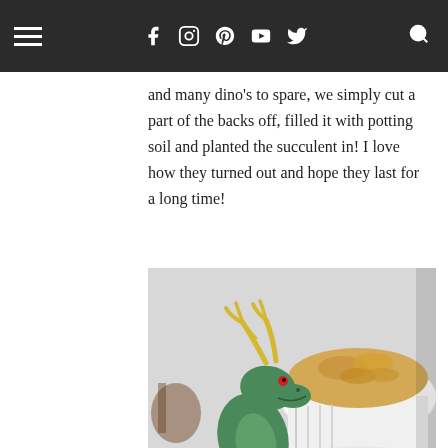Navigation header with hamburger menu and social icons (Facebook, Instagram, Pinterest, YouTube, Twitter) and search
and many dino's to spare, we simply cut a part of the backs off, filled it with potting soil and planted the succulent in! I love how they turned out and hope they last for a long time!
[Figure (photo): A green toy dinosaur figurine with yellow antler decorations standing in front of a white bowl filled with pasta/chips on a party table setting]
[Figure (photo): Partial view of another dinosaur party scene, cropped at bottom of page]